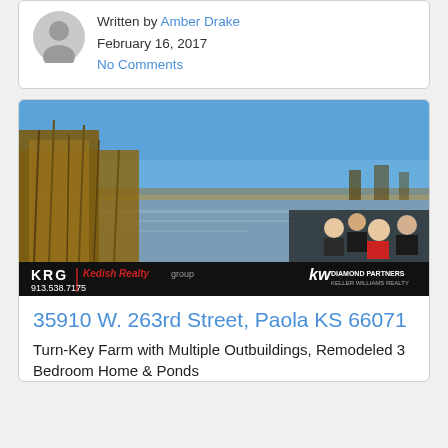Written by Amber Drake
February 16, 2017
No Comments
[Figure (photo): Real estate listing photo showing a pond with cattails/tall grass in the foreground, flat Kansas farmland in the background under a blue sky. Bottom band shows KRG Kedish Realty Group branding, phone 913.538.7175, www.kedish.com, KW Diamond Partners Keller Williams Realty logo, and a group photo of four real estate agents.]
35910 W. 263rd Street, Paola KS 66071
Turn-Key Farm with Multiple Outbuildings, Remodeled 3 Bedroom Home & Ponds